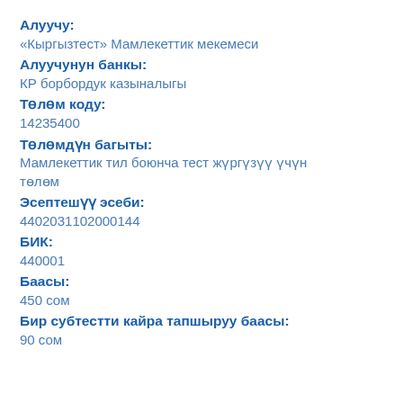Алуучу:
«Кыргызтест» Мамлекеттик мекемеси
Алуучунун банкы:
КР борбордук казыналыгы
Төлөм коду:
14235400
Төлөмдүн багыты:
Мамлекеттик тил боюнча тест жүргүзүү үчүн төлөм
Эсептешүү эсеби:
4402031102000144
БИК:
440001
Баасы:
450 сом
Бир субтестти кайра тапшыруу баасы:
90 сом